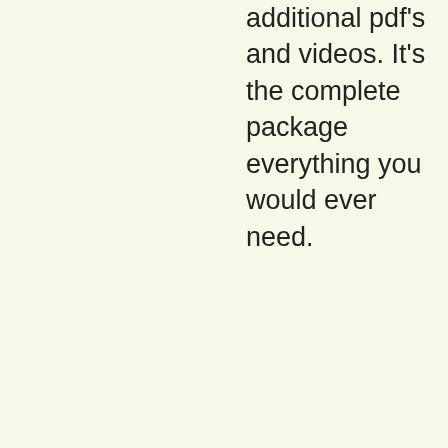additional pdf's and videos. It's the complete package everything you would ever need.
Reply
21.
[Figure (photo): Small avatar image placeholder with landscape photo icon]
Pete says:
Hi Turner been using the Irv speed ratings since last year did ok,